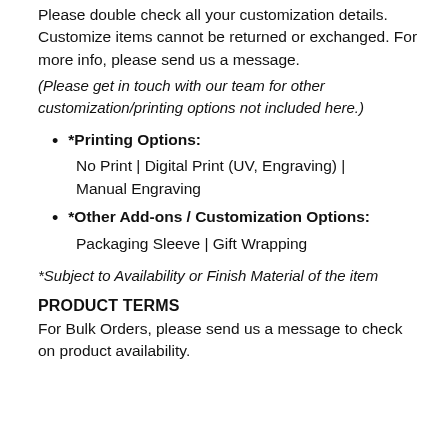Please double check all your customization details. Customize items cannot be returned or exchanged. For more info, please send us a message.
(Please get in touch with our team for other customization/printing options not included here.)
*Printing Options: No Print | Digital Print (UV, Engraving) | Manual Engraving
*Other Add-ons / Customization Options: Packaging Sleeve | Gift Wrapping
*Subject to Availability or Finish Material of the item
PRODUCT TERMS
For Bulk Orders, please send us a message to check on product availability.